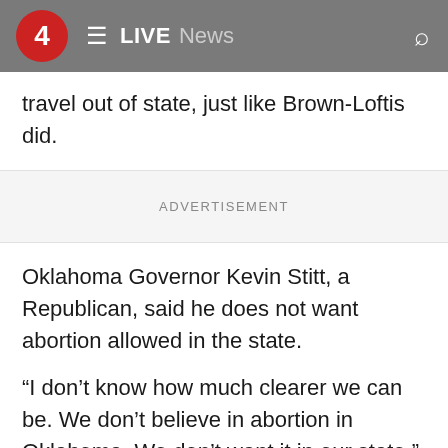4  ≡  LIVE  News
travel out of state, just like Brown-Loftis did.
ADVERTISEMENT
Oklahoma Governor Kevin Stitt, a Republican, said he does not want abortion allowed in the state.
“I don’t know how much clearer we can be. We don’t believe in abortion in Oklahoma. We don’t want it in our state,” Stitt said.
The U.S. Supreme Court is expected to issue an opinion that could effectively overturn Roe v. Wade in the coming weeks. If that happens, many other states could become